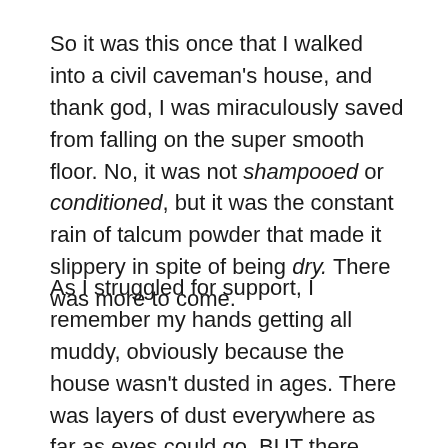So it was this once that I walked into a civil caveman's house, and thank god, I was miraculously saved from falling on the super smooth floor. No, it was not shampooed or conditioned, but it was the constant rain of talcum powder that made it slippery in spite of being dry. There was more to come.
As I struggled for support, I remember my hands getting all muddy, obviously because the house wasn't dusted in ages. There was layers of dust everywhere as far as eyes could go. BUT there were clean spots, of course! Like the place where the wallet and belt were placed, or the towel was hung, or where drinking water was kept, of